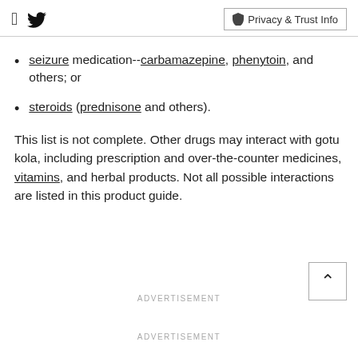Facebook Twitter | Privacy & Trust Info
seizure medication--carbamazepine, phenytoin, and others; or
steroids (prednisone and others).
This list is not complete. Other drugs may interact with gotu kola, including prescription and over-the-counter medicines, vitamins, and herbal products. Not all possible interactions are listed in this product guide.
ADVERTISEMENT
ADVERTISEMENT